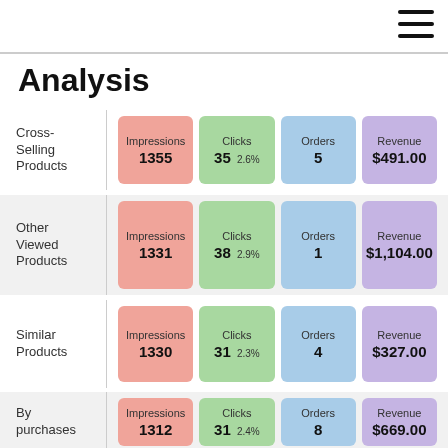Analysis
| Category | Impressions | Clicks | Orders | Revenue |
| --- | --- | --- | --- | --- |
| Cross-Selling Products | 1355 | 35 2.6% | 5 | $491.00 |
| Other Viewed Products | 1331 | 38 2.9% | 1 | $1,104.00 |
| Similar Products | 1330 | 31 2.3% | 4 | $327.00 |
| By purchases | 1312 | 31 2.4% | 8 | $669.00 |